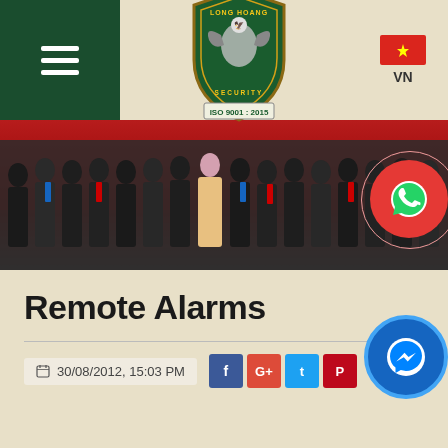[Figure (logo): Long Hoang Security company logo with shield design, eagle, and ISO 9001:2015 certification badge]
[Figure (photo): Group photo of people in formal attire (suits) at a company event in front of a red backdrop]
Remote Alarms
30/08/2012, 15:03 PM